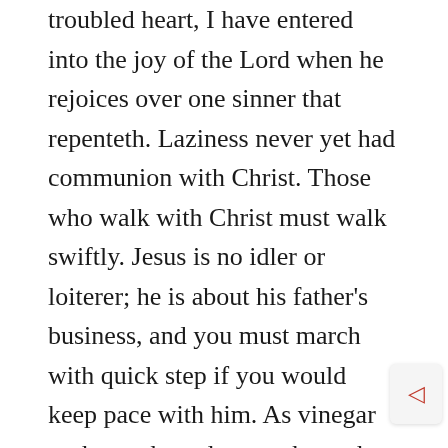countenance has shone at last upon the troubled heart, I have entered into the joy of the Lord when he rejoices over one sinner that repenteth. Laziness never yet had communion with Christ. Those who walk with Christ must walk swiftly. Jesus is no idler or loiterer; he is about his father's business, and you must march with quick step if you would keep pace with him. As vinegar to the teeth, and as smoke to the eyes, are sluggards to active persons. Those who have much to do have no fellowship with gossips, who drop in to while away the hours with chat. Jesus has